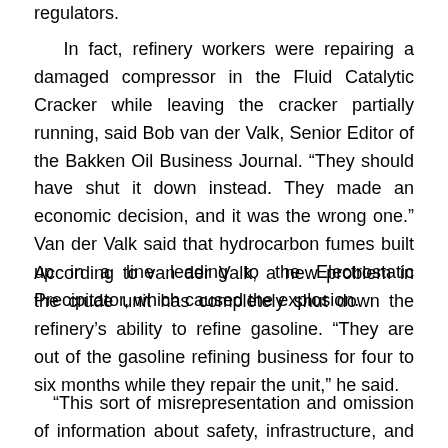regulators.
In fact, refinery workers were repairing a damaged compressor in the Fluid Catalytic Cracker while leaving the cracker partially running, said Bob van der Valk, Senior Editor of the Bakken Oil Business Journal. “They should have shut it down instead. They made an economic decision, and it was the wrong one.” Van der Valk said that hydrocarbon fumes built up in a line leading to the Electrostatic Precipitator, which caused the explosion.
According to van der Valk, a new problem in the crude unit has completely shut down the refinery’s ability to refine gasoline. “They are out of the gasoline refining business for four to six months while they repair the unit,” he said.
“This sort of misrepresentation and omission of information about safety, infrastructure, and the ability to